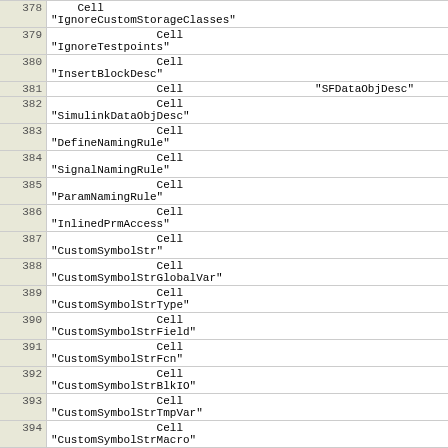| 378 |     Cell
"IgnoreCustomStorageClasses" |
| 379 |                 Cell
"IgnoreTestpoints" |
| 380 |                 Cell
"InsertBlockDesc" |
| 381 |                 Cell                    "SFDataObjDesc" |
| 382 |                 Cell
"SimulinkDataObjDesc" |
| 383 |                 Cell
"DefineNamingRule" |
| 384 |                 Cell
"SignalNamingRule" |
| 385 |                 Cell
"ParamNamingRule" |
| 386 |                 Cell
"InlinedPrmAccess" |
| 387 |                 Cell
"CustomSymbolStr" |
| 388 |                 Cell
"CustomSymbolStrGlobalVar" |
| 389 |                 Cell
"CustomSymbolStrType" |
| 390 |                 Cell
"CustomSymbolStrField" |
| 391 |                 Cell
"CustomSymbolStrFcn" |
| 392 |                 Cell
"CustomSymbolStrBlkIO" |
| 393 |                 Cell
"CustomSymbolStrTmpVar" |
| 394 |                 Cell
"CustomSymbolStrMacro" |
| 395 |                 PropName              "DisabledProps" |
| 396 |               } |